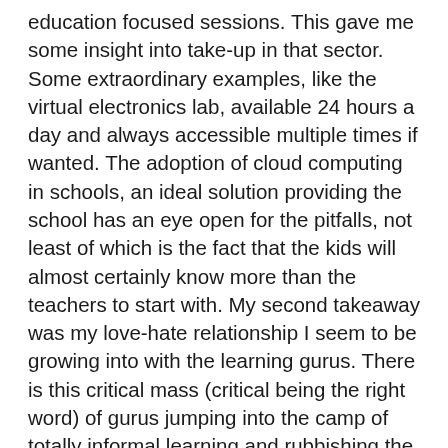education focused sessions. This gave me some insight into take-up in that sector. Some extraordinary examples, like the virtual electronics lab, available 24 hours a day and always accessible multiple times if wanted. The adoption of cloud computing in schools, an ideal solution providing the school has an eye open for the pitfalls, not least of which is the fact that the kids will almost certainly know more than the teachers to start with. My second takeaway was my love-hate relationship I seem to be growing into with the learning gurus. There is this critical mass (critical being the right word) of gurus jumping into the camp of totally informal learning and rubbishing the formal. If I worked in an organisational role responsible for learning I think I would either feel confused or incensed. Of course, informal learning is the great uncounted factor for many in the past. Unrecognised, unsupported and factored out of L&D strategic thinking. But that has been changing for years. Think Etienne Wenger in the 70s and Peer Drucker, a couple of the truly great thinkers on the reality of learning and